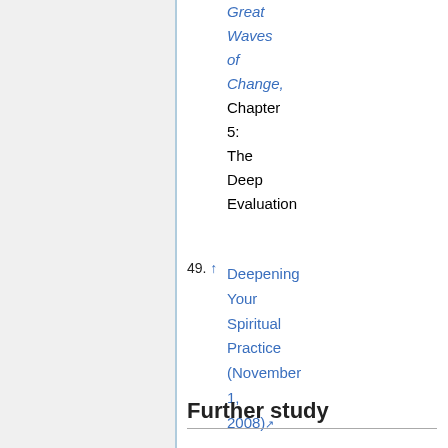Great Waves of Change, Chapter 5: The Deep Evaluation
49. ↑ Deepening Your Spiritual Practice (November 1, 2008)
Further study